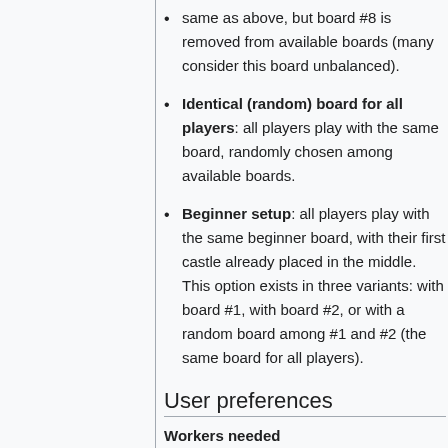same as above, but board #8 is removed from available boards (many consider this board unbalanced).
Identical (random) board for all players: all players play with the same board, randomly chosen among available boards.
Beginner setup: all players play with the same beginner board, with their first castle already placed in the middle. This option exists in three variants: with board #1, with board #2, or with a random board among #1 and #2 (the same board for all players).
User preferences
Workers needed